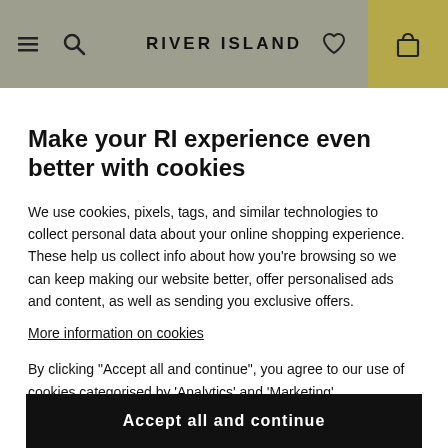RIVER ISLAND
Make your RI experience even better with cookies
We use cookies, pixels, tags, and similar technologies to collect personal data about your online shopping experience. These help us collect info about how you're browsing so we can keep making our website better, offer personalised ads and content, as well as sending you exclusive offers.
More information on cookies
By clicking "Accept all and continue", you agree to our use of cookies categorised by 'Analytics' and 'Marketing'.
Accept all and continue